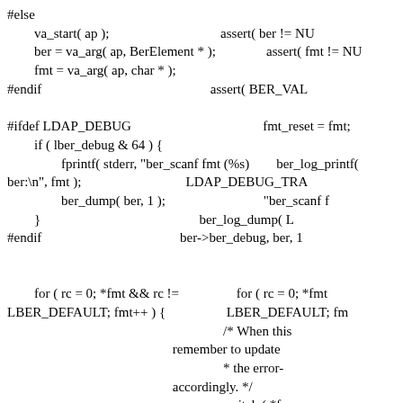#else
        va_start( ap );
        ber = va_arg( ap, BerElement * );
        fmt = va_arg( ap, char * );
#endif

#ifdef LDAP_DEBUG
        if ( lber_debug & 64 ) {
                fprintf( stderr, "ber_scanf fmt (%s) ber:\n", fmt );
                ber_dump( ber, 1 );
        }
#endif

        for ( rc = 0; *fmt && rc !=
LBER_DEFAULT; fmt++ ) {




        switch ( *fmt ) {
assert( ber != NU
assert( fmt != NU

assert( BER_VAL

fmt_reset = fmt;

ber_log_printf(
LDAP_DEBUG_TRA
        "ber_scanf f
        ber_log_dump( L
ber->ber_debug, ber, 1


        for ( rc = 0; *fmt
LBER_DEFAULT; fm
                /* When this
remember to update
                * the error-
accordingly. */
                switch ( *fm
                case '!': { /*
                        Bl
                        vo